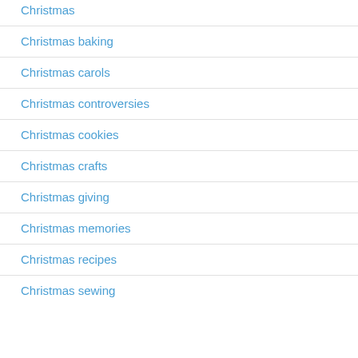Christmas
Christmas baking
Christmas carols
Christmas controversies
Christmas cookies
Christmas crafts
Christmas giving
Christmas memories
Christmas recipes
Christmas sewing